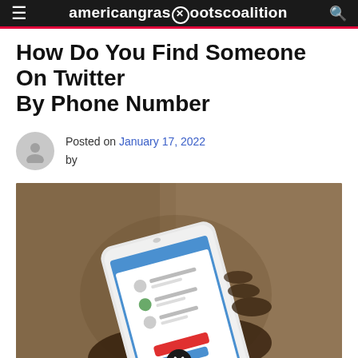americangrassrootscoalition
How Do You Find Someone On Twitter By Phone Number
Posted on January 17, 2022 by
[Figure (photo): A hand holding a white smartphone displaying a Twitter/messaging contacts screen with a block contact dialog, photographed against a blurred brown background. A close/dismiss button is overlaid at the bottom center.]